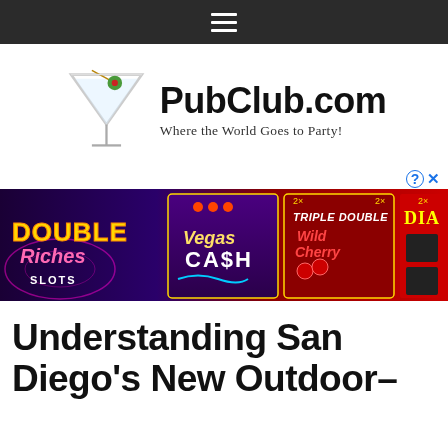≡
[Figure (logo): PubClub.com logo with martini glass and text 'PubClub.com Where the World Goes to Party!']
[Figure (screenshot): Casino slot machine advertisement banner showing Double Riches Slots, Vegas Cash, Triple Double Wild Cherry, and Diamond slot games]
Understanding San Diego's New Outdoor-